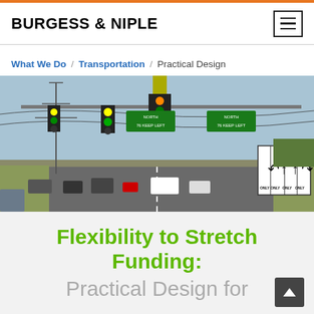BURGESS & NIPLE
What We Do / Transportation / Practical Design
[Figure (photo): Aerial/ground-level photo of a busy road intersection with traffic signals, overhead highway signs showing Route 76 directions, multiple lanes with 'ONLY' lane signs on the right, vehicles on the road, utility towers, and open fields in the background. Clear daytime with blue sky.]
Flexibility to Stretch Funding:
Practical Design for